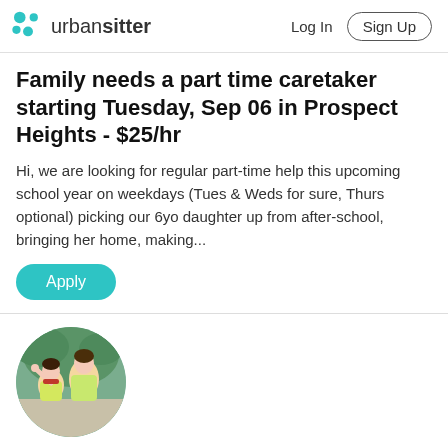urbansitter  Log In  Sign Up
Family needs a part time caretaker starting Tuesday, Sep 06 in Prospect Heights - $25/hr
Hi, we are looking for regular part-time help this upcoming school year on weekdays (Tues & Weds for sure, Thurs optional) picking our 6yo daughter up from after-school, bringing her home, making...
Apply
[Figure (photo): Circular profile photo showing two young girls outdoors, smiling and posing]
Part Time nanny job available starting Tuesday, Sep 06 (flexible) - $33/hr